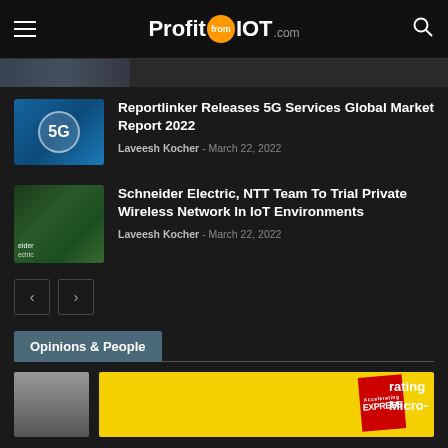ProfitfromIOT.com
[Figure (photo): Partial cropped image bar at top of content area]
[Figure (photo): 5G technology thumbnail image with 5G label on blue tech background]
Reportlinker Releases 5G Services Global Market Report 2022
Laveesh Kocher - March 22, 2022
[Figure (photo): Schneider Electric aerial forest/river photo with branding text]
Schneider Electric, NTT Team To Trial Private Wireless Network In IoT Environments
Laveesh Kocher - March 22, 2022
Opinions & People
[Figure (photo): Partial article image with yellow background, Express badge, and partial text 'rating' and 'Micro-']